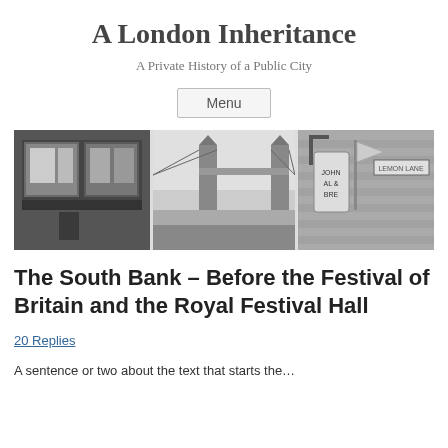A London Inheritance
A Private History of a Public City
Menu
[Figure (photo): Black and white triptych header image showing three panels: left panel shows a shop front with display windows and posters, middle panel shows Tower Bridge in London with crowds below, right panel shows a hanging pub or shop sign with brick wall and a street sign reading 'Lemon Lane'.]
The South Bank – Before the Festival of Britain and the Royal Festival Hall
20 Replies
A sentence or two about the text that starts the...